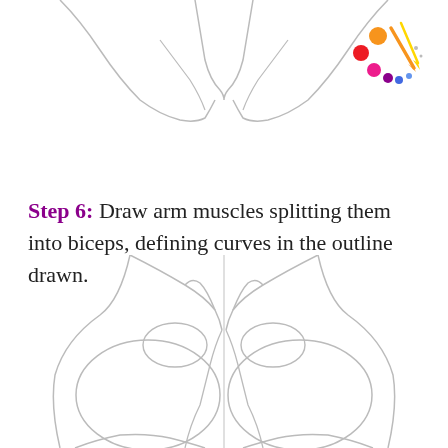[Figure (illustration): Partial upper body muscle outline drawing (top portion) showing neck/shoulder area in light gray sketch style]
[Figure (logo): Art palette logo with colored circles (orange, red, pink, purple, blue) and two paintbrushes in orange and yellow]
Step 6: Draw arm muscles splitting them into biceps, defining curves in the outline drawn.
[Figure (illustration): Lower body muscle outline drawing showing detailed bicep and chest muscle curves in light gray sketch style, with a central vertical line dividing left and right sides]